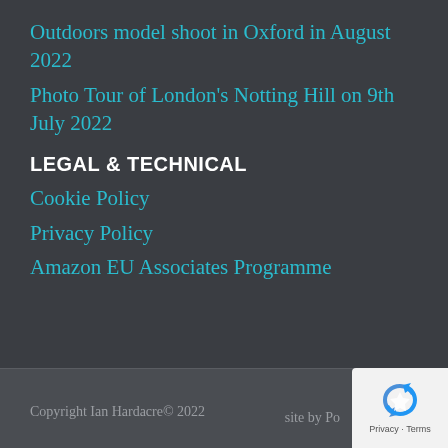Outdoors model shoot in Oxford in August 2022
Photo Tour of London's Notting Hill on 9th July 2022
LEGAL & TECHNICAL
Cookie Policy
Privacy Policy
Amazon EU Associates Programme
Copyright Ian Hardacre© 2022    site by Po
[Figure (logo): Google reCAPTCHA badge with blue recycling-style icon, showing 'Privacy - Terms' text below]